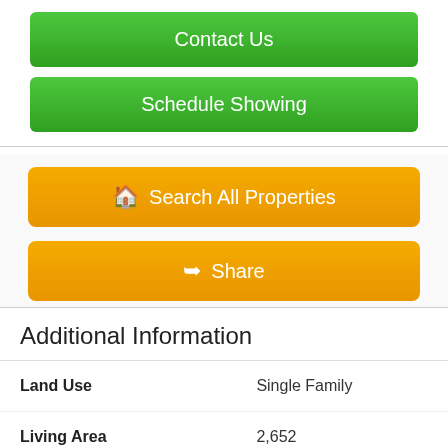Contact Us
Schedule Showing
Search All Properties
Share
Additional Information
| Field | Value |
| --- | --- |
| Land Use | Single Family |
| Living Area | 2,652 |